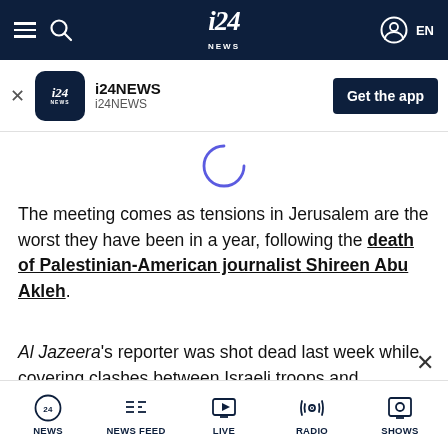i24 NEWS — EN
[Figure (screenshot): i24NEWS app install banner with logo, app name, and Get the app button]
[Figure (other): Loading spinner (partial arc in blue/purple)]
The meeting comes as tensions in Jerusalem are the worst they have been in a year, following the death of Palestinian-American journalist Shireen Abu Akleh.
Al Jazeera's reporter was shot dead last week while covering clashes between Israeli troops and
NEWS | NEWS FEED | LIVE | RADIO | SHOWS